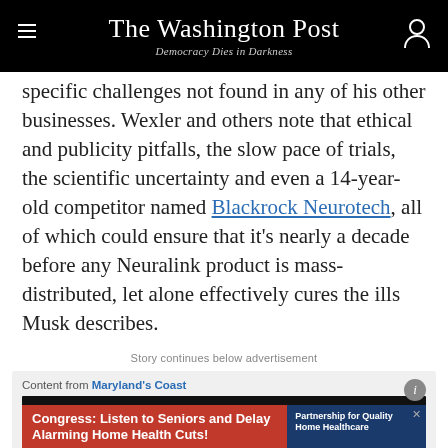The Washington Post — Democracy Dies in Darkness
...challenges not found in any of his other businesses. Wexler and others note that ethical and publicity pitfalls, the slow pace of trials, the scientific uncertainty and even a 14-year-old competitor named Blackrock Neurotech, all of which could ensure that it's nearly a decade before any Neuralink product is mass-distributed, let alone effectively cures the ills Musk describes.
Story continues below advertisement
Content from Maryland's Coast
[Figure (infographic): Advertisement banner: red section reads 'Congress: Listen to Seniors and Delay Alarming Home Health Cuts!' beside blue section with 'Partnership for Quality Home Healthcare' logo]